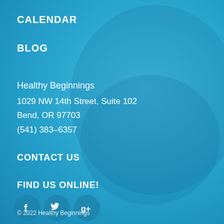CALENDAR
BLOG
Healthy Beginnings
1029 NW 14th Street, Suite 102
Bend, OR 97703
(541) 383-6357
CONTACT US
FIND US ONLINE!
[Figure (illustration): Social media icons: Facebook, Twitter, Google+]
© 2022 Healthy Beginnings